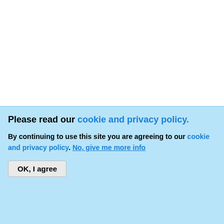[Figure (screenshot): Forum thread screenshot showing a blue content box, post text about S2+ on the right (partially cropped), a Top button, a new post dated Sun 08/06/2017 - 23:12 by user 'glide 1' who is Offline, and a cookie/privacy policy consent banner at the bottom.]
And with t... might be b... crazy with...
Not sure l... S2+, so ca... know the d...
09 F9 11 02...
Top
Sun, 08/06/2017 - 23:12
glide 1
Offline
Please read our cookie and privacy policy.
By continuing to use this site you are agreeing to our cookie and privacy policy. No, give me more info
OK, I agree